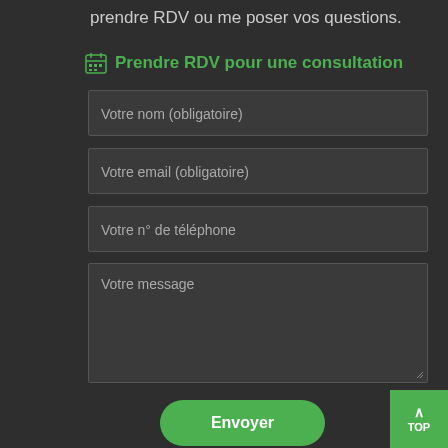prendre RDV ou me poser vos questions.
Prendre RDV pour une consultation
Votre nom (obligatoire)
Votre email (obligatoire)
Votre n° de téléphone
Votre message
Envoyer
TOP